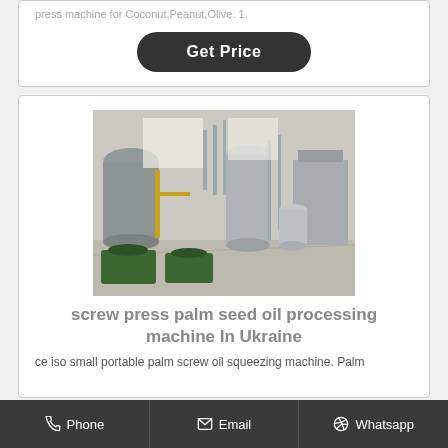press machine for Coconut,Peanut,Olive. 1.
Get Price
[Figure (photo): Industrial oil processing plant interior showing large tanks, pipes, and machinery including green motors and stainless steel equipment]
screw press palm seed oil processing machine In Ukraine
ce iso small portable palm screw oil squeezing machine. Palm
Phone   Email   Whatsapp